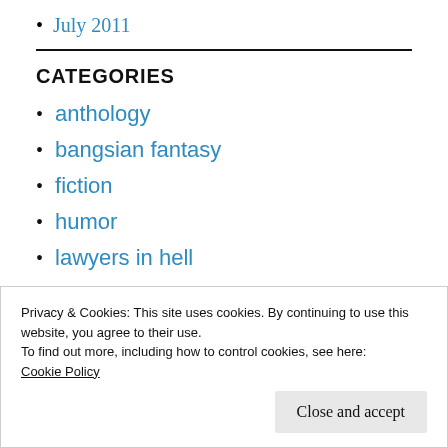July 2011
CATEGORIES
anthology
bangsian fantasy
fiction
humor
lawyers in hell
Privacy & Cookies: This site uses cookies. By continuing to use this website, you agree to their use.
To find out more, including how to control cookies, see here:
Cookie Policy
Close and accept